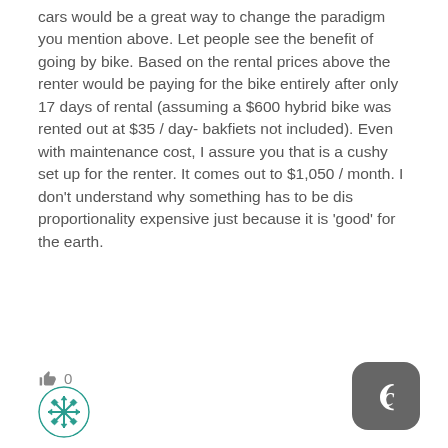cars would be a great way to change the paradigm you mention above. Let people see the benefit of going by bike. Based on the rental prices above the renter would be paying for the bike entirely after only 17 days of rental (assuming a $600 hybrid bike was rented out at $35 / day- bakfiets not included). Even with maintenance cost, I assure you that is a cushy set up for the renter. It comes out to $1,050 / month. I don't understand why something has to be dis proportionality expensive just because it is ‘good’ for the earth.
[Figure (other): Thumbs up like icon with count 0]
[Figure (logo): User avatar icon with teal snowflake/quilt pattern]
[Figure (logo): Dark grey rounded square button with white crescent moon C letter logo]